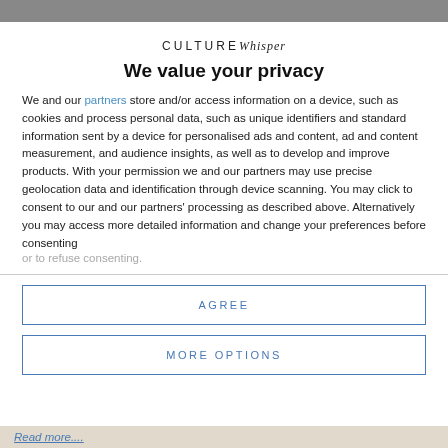[Figure (photo): Partial photo strip visible at top of page (background image partially obscured by modal overlay)]
CULTURE Whisper
We value your privacy
We and our partners store and/or access information on a device, such as cookies and process personal data, such as unique identifiers and standard information sent by a device for personalised ads and content, ad and content measurement, and audience insights, as well as to develop and improve products. With your permission we and our partners may use precise geolocation data and identification through device scanning. You may click to consent to our and our partners' processing as described above. Alternatively you may access more detailed information and change your preferences before consenting or to refuse consenting.
AGREE
MORE OPTIONS
Read more....